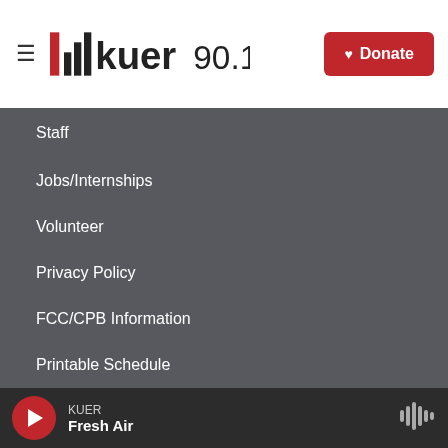KUER 90.1 — Donate
Staff
Jobs/Internships
Volunteer
Privacy Policy
FCC/CPB Information
Printable Schedule
KUER Fresh Air